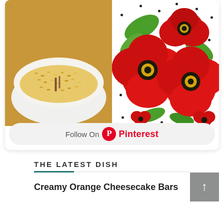[Figure (photo): Pinterest board widget showing two food/craft images side by side: left image is a butternut and mushroom risotto dish with a recipe label overlay, right image shows red poppy flowers made of paper/fondant on white background]
Follow On Pinterest
THE LATEST DISH
Creamy Orange Cheesecake Bars